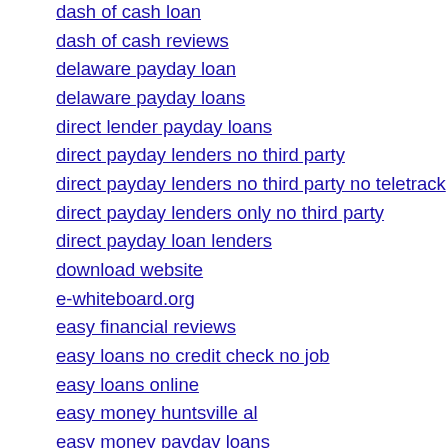dash of cash loan
dash of cash reviews
delaware payday loan
delaware payday loans
direct lender payday loans
direct payday lenders no third party
direct payday lenders no third party no teletrack
direct payday lenders only no third party
direct payday loan lenders
download website
e-whiteboard.org
easy financial reviews
easy loans no credit check no job
easy loans online
easy money huntsville al
easy money payday loans
easy rental car
easy tribal loans no credit check
easyfinance